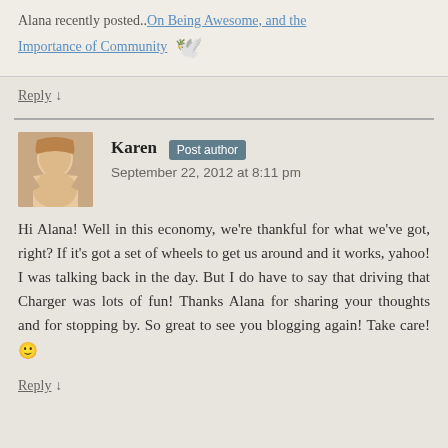Alana recently posted..On Being Awesome, and the Importance of Community 🕊
Reply ↓
Karen Post author
September 22, 2012 at 8:11 pm
Hi Alana! Well in this economy, we're thankful for what we've got, right? If it's got a set of wheels to get us around and it works, yahoo! I was talking back in the day. But I do have to say that driving that Charger was lots of fun! Thanks Alana for sharing your thoughts and for stopping by. So great to see you blogging again! Take care! 🙂
Reply ↓